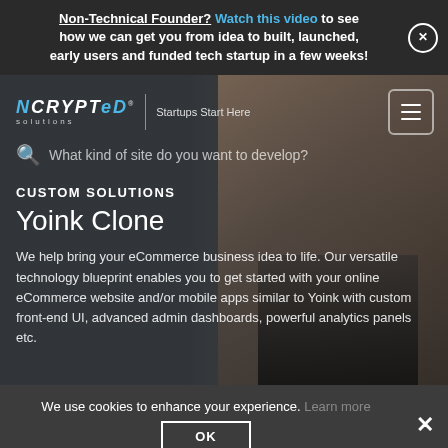Non-Technical Founder? Watch this video to see how we can get you from idea to built, launched, early users and funded tech startup in a few weeks!
[Figure (screenshot): NCRYPTed Solutions website hero section with logo, hamburger menu, search bar, 'CUSTOM SOLUTIONS' label, 'Yoink Clone' heading, and descriptive text overlay on a blurred photo of a smiling businessman in a suit.]
CUSTOM SOLUTIONS
Yoink Clone
We help bring your eCommerce business idea to life. Our versatile technology blueprint enables you to get started with your online eCommerce website and/or mobile apps similar to Yoink with custom front-end UI, advanced admin dashboards, powerful analytics panels etc.
We use cookies to enhance your experience. Learn more  OK